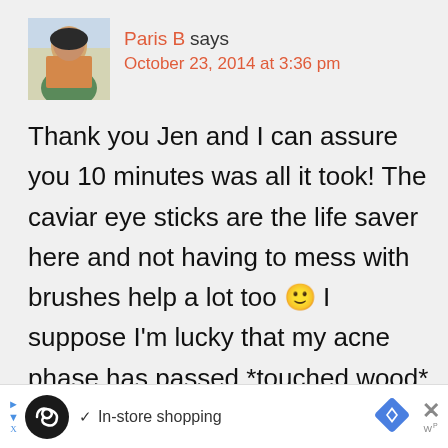[Figure (photo): Avatar photo of Paris B, a woman with short dark hair, colorful top, light background]
Paris B says
October 23, 2014 at 3:36 pm
Thank you Jen and I can assure you 10 minutes was all it took! The caviar eye sticks are the life saver here and not having to mess with brushes help a lot too 🙂 I suppose I'm lucky that my acne phase has passed *touched wood* but I still work with concealers because I now battle dark eye circles and pigmentation. It
[Figure (screenshot): Ad bar at bottom: black circular logo with infinity-like symbol, checkmark, 'In-store shopping' text, blue diamond navigation icon, X close button, wp superscript label]